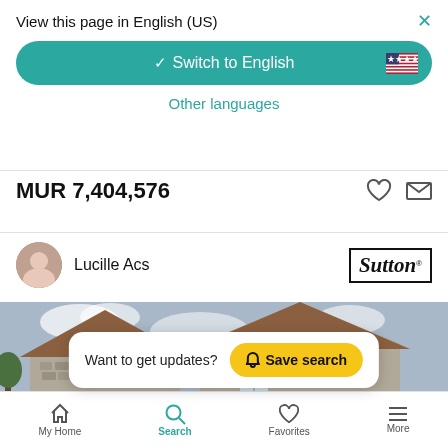View this page in English (US)
Switch to English
Other languages
MUR 7,404,576
Lucille Acs
[Figure (photo): Stone house exterior with steep gabled roof and cloudy sky]
Want to get updates? Save search
My Home  Search  Favorites  More